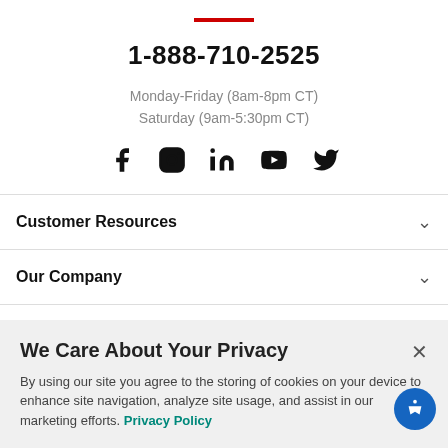1-888-710-2525
Monday-Friday (8am-8pm CT)
Saturday (9am-5:30pm CT)
[Figure (illustration): Social media icons: Facebook, Instagram, LinkedIn, YouTube, Twitter]
Customer Resources
Our Company
We Care About Your Privacy
By using our site you agree to the storing of cookies on your device to enhance site navigation, analyze site usage, and assist in our marketing efforts. Privacy Policy